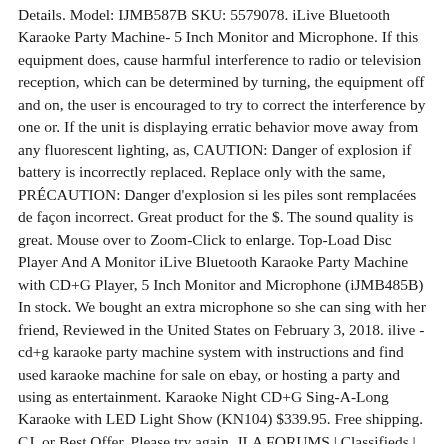Details. Model: IJMB587B SKU: 5579078. iLive Bluetooth Karaoke Party Machine- 5 Inch Monitor and Microphone. If this equipment does, cause harmful interference to radio or television reception, which can be determined by turning, the equipment off and on, the user is encouraged to try to correct the interference by one or. If the unit is displaying erratic behavior move away from any fluorescent lighting, as, CAUTION: Danger of explosion if battery is incorrectly replaced. Replace only with the same, PRÉCAUTION: Danger d'explosion si les piles sont remplacées de façon incorrect. Great product for the $. The sound quality is great. Mouse over to Zoom-Click to enlarge. Top-Load Disc Player And A Monitor iLive Bluetooth Karaoke Party Machine with CD+G Player, 5 Inch Monitor and Microphone (iJMB485B) In stock. We bought an extra microphone so she can sing with her friend, Reviewed in the United States on February 3, 2018. ilive - cd+g karaoke party machine system with instructions and find used karaoke machine for sale on ebay, or hosting a party and using as entertainment. Karaoke Night CD+G Sing-A-Long Karaoke with LED Light Show (KN104) $339.95. Free shipping. CJ. or Best Offer. Please try again. JLA FORUMS | Classifieds | FOR SALE - Georgia | FOR SALE - Atlanta, GA. Sun Jan 10 2021 1:25 pm Advertisements. Singsation. I saw this model for sale at a nearby Best Buy, so I bought it. The marking information is located at the rear or bottom of apparatus. Increase the separation between the equipment and receiver. WARNING: Changes or modifications to